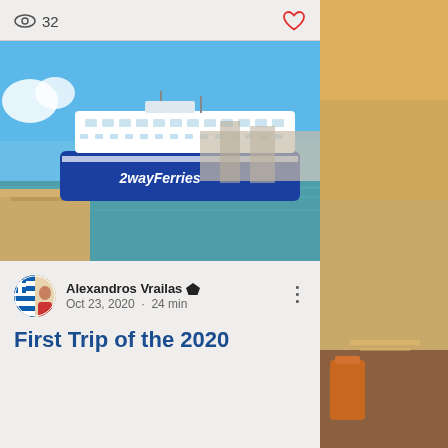32
[Figure (photo): A blue and white 2wayFerries ferry ship docked at a port with clear blue sky, pier visible on the left, buildings in background]
Alexandros Vrailas · Oct 23, 2020 · 24 min
First Trip of the 2020
[Figure (photo): Side panel showing a sunset or dusk harbor scene with warm golden-orange tones, pier/dock visible]